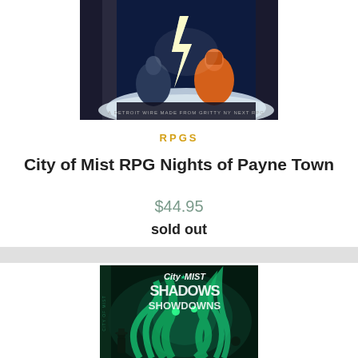[Figure (photo): Partial top view of City of Mist RPG Nights of Payne Town book cover showing action scene with characters and lightning]
RPGS
City of Mist RPG Nights of Payne Town
$44.95
sold out
[Figure (photo): City of Mist Shadows & Showdowns book cover with teal/green mystical creature artwork]